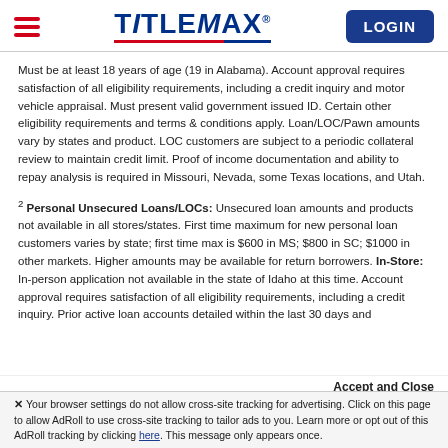[Figure (logo): TitleMax logo with hamburger menu on left and LOGIN button on right]
Must be at least 18 years of age (19 in Alabama). Account approval requires satisfaction of all eligibility requirements, including a credit inquiry and motor vehicle appraisal. Must present valid government issued ID. Certain other eligibility requirements and terms & conditions apply. Loan/LOC/Pawn amounts vary by states and product. LOC customers are subject to a periodic collateral review to maintain credit limit. Proof of income documentation and ability to repay analysis is required in Missouri, Nevada, some Texas locations, and Utah.
2 Personal Unsecured Loans/LOCs: Unsecured loan amounts and products not available in all stores/states. First time maximum for new personal loan customers varies by state; first time max is $600 in MS; $800 in SC; $1000 in other markets. Higher amounts may be available for return borrowers. In-Store: In-person application not available in the state of Idaho at this time. Account approval requires satisfaction of all eligibility requirements, including a credit inquiry. Prior active loan accounts detailed within the last 30 days and...
Accept and Close
Your browser settings do not allow cross-site tracking for advertising. Click on this page to allow AdRoll to use cross-site tracking to tailor ads to you. Learn more or opt out of this AdRoll tracking by clicking here. This message only appears once.